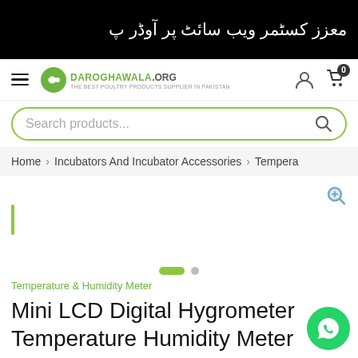معزز کسٹمر ویب سائٹ پر آوڈر پ
[Figure (logo): Daroghawala.org website logo with green arrow icon and navigation bar including hamburger menu, user icon, and cart icon showing 0 items]
Search products...
Home > Incubators And Incubator Accessories > Tempera
[Figure (photo): Product image area (mostly blank/white) with a green vertical bar on the left side and a magnifying glass zoom icon on the top right]
Temperature & Humidity Meter
Mini LCD Digital Hygrometer Temperature Humidity Meter Without Wire In Pakistan